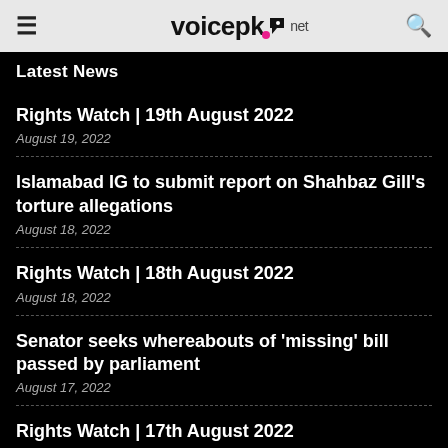voicepk.net
Latest News
Rights Watch | 19th August 2022
August 19, 2022
Islamabad IG to submit report on Shahbaz Gill's torture allegations
August 18, 2022
Rights Watch | 18th August 2022
August 18, 2022
Senator seeks whereabouts of 'missing' bill passed by parliament
August 17, 2022
Rights Watch | 17th August 2022
August 17, 2022